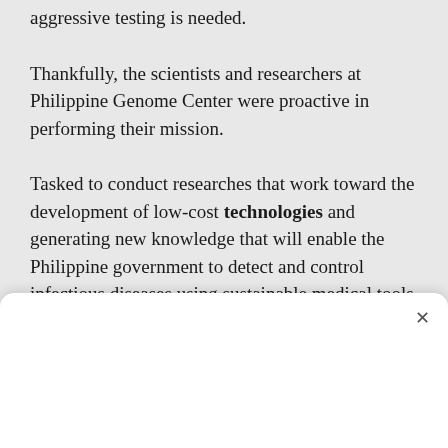aggressive testing is needed.
Thankfully, the scientists and researchers at Philippine Genome Center were proactive in performing their mission.
Tasked to conduct researches that work toward the development of low-cost technologies and generating new knowledge that will enable the Philippine government to detect and control infectious diseases using sustainable medical tools and equitable medical solutions, the team of U.P.